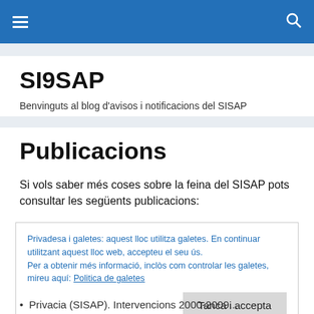SI9SAP — navigation header bar
SI9SAP
Benvinguts al blog d'avisos i notificacions del SISAP
Publicacions
Si vols saber més coses sobre la feina del SISAP pots consultar les següents publicacions:
Privadesa i galetes: aquest lloc utilitza galetes. En continuar utilitzant aquest lloc web, accepteu el seu ús.
Per a obtenir més informació, inclòs com controlar les galetes, mireu aquí: Politica de galetes
Tanca i accepta